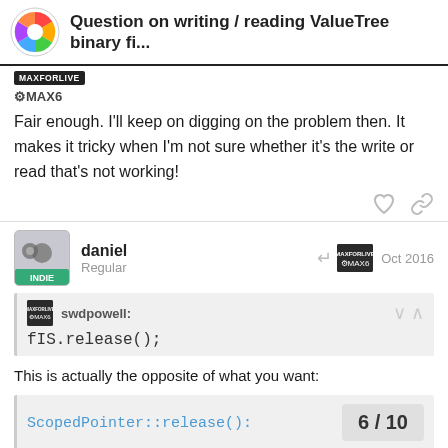Question on writing / reading ValueTree binary fi...
MAXFORLIVE
@MAX6
Fair enough. I'll keep on digging on the problem then. It makes it tricky when I'm not sure whether it's the write or read that's not working!
daniel
Regular
Oct 2016
swdpowell:
fIS.release();
This is actually the opposite of what you want:
ScopedPointer::release():
6 / 10